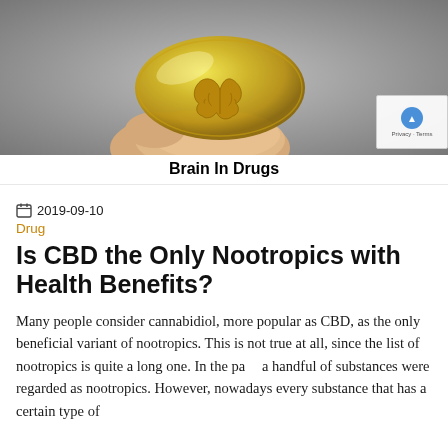[Figure (photo): Hand holding a yellow translucent gel capsule/pill with a brain embossed on it, against a gray blurred background]
Brain In Drugs
2019-09-10
Drug
Is CBD the Only Nootropics with Health Benefits?
Many people consider cannabidiol, more popular as CBD, as the only beneficial variant of nootropics. This is not true at all, since the list of nootropics is quite a long one. In the pa... a handful of substances were regarded as nootropics. However, nowadays every substance that has a certain type of